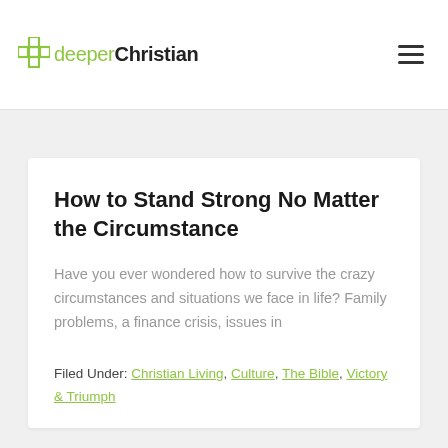deeperChristian
How to Stand Strong No Matter the Circumstance
Have you ever wondered how to survive the crazy circumstances and situations we face in life? Family problems, a finance crisis, issues in
Filed Under: Christian Living, Culture, The Bible, Victory & Triumph